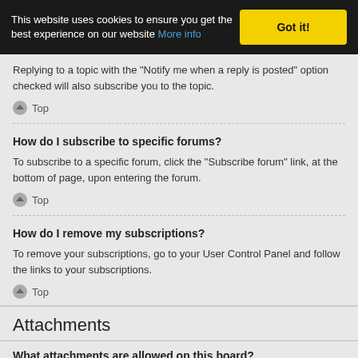This website uses cookies to ensure you get the best experience on our website More info  Got it!
Replying to a topic with the "Notify me when a reply is posted" option checked will also subscribe you to the topic.
Top
How do I subscribe to specific forums?
To subscribe to a specific forum, click the "Subscribe forum" link, at the bottom of page, upon entering the forum.
Top
How do I remove my subscriptions?
To remove your subscriptions, go to your User Control Panel and follow the links to your subscriptions.
Top
Attachments
What attachments are allowed on this board?
Each board administrator can allow or disallow certain attachment types. If you are unsure what is allowed to be uploaded, contact the board administrator for